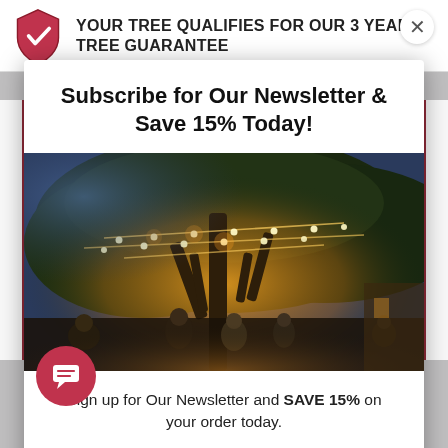YOUR TREE QUALIFIES FOR OUR 3 YEAR TREE GUARANTEE
Subscribe for Our Newsletter & Save 15% Today!
[Figure (photo): Outdoor evening scene with string lights hanging from a large tree, people gathered below in a warm, ambient atmosphere]
Sign up for Our Newsletter and SAVE 15% on your order today.